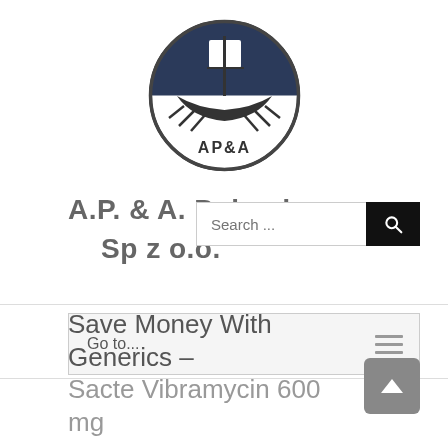[Figure (logo): AP&A circular logo with a Viking ship and sail, dark navy upper half, white lower half with 'AP&A' text below the ship]
A.P. & A. Poland Sp z o.o.
Search ...
Go to...
Save Money With Generics – Sacte Vibramycin 600 mg